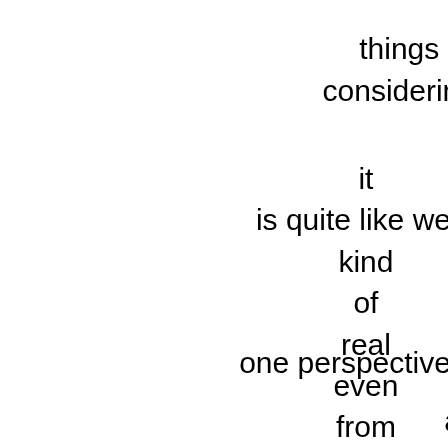things
considering
it
is quite like we a
kind
of
real
even
from
one perspective e
as
it